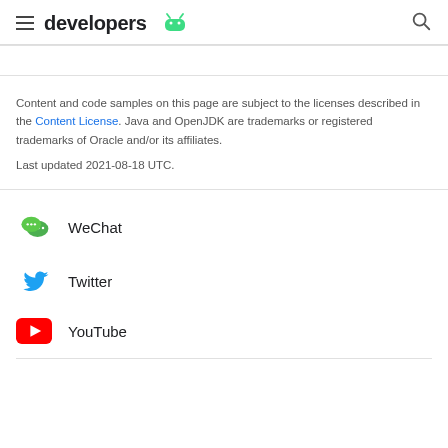developers [Android logo]
Content and code samples on this page are subject to the licenses described in the Content License. Java and OpenJDK are trademarks or registered trademarks of Oracle and/or its affiliates.
Last updated 2021-08-18 UTC.
WeChat
Twitter
YouTube